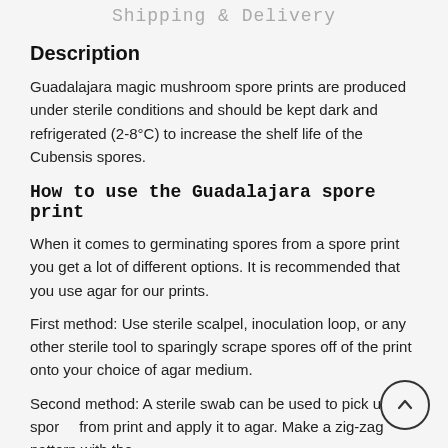Shipping & Delivery
Description
Guadalajara magic mushroom spore prints are produced under sterile conditions and should be kept dark and refrigerated (2-8°C) to increase the shelf life of the Cubensis spores.
How to use the Guadalajara spore print
When it comes to germinating spores from a spore print you get a lot of different options. It is recommended that you use agar for our prints.
First method: Use sterile scalpel, inoculation loop, or any other sterile tool to sparingly scrape spores off of the print onto your choice of agar medium.
Second method: A sterile swab can be used to pick up spores from print and apply it to agar. Make a zig-zag pattern with the